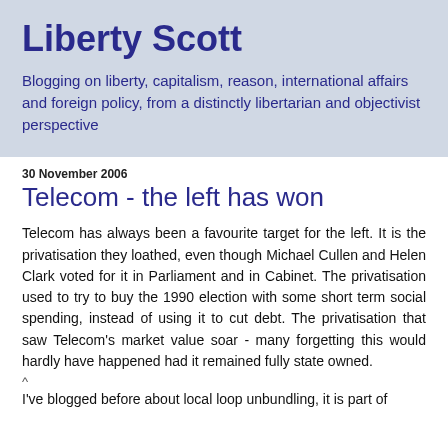Liberty Scott
Blogging on liberty, capitalism, reason, international affairs and foreign policy, from a distinctly libertarian and objectivist perspective
30 November 2006
Telecom - the left has won
Telecom has always been a favourite target for the left. It is the privatisation they loathed, even though Michael Cullen and Helen Clark voted for it in Parliament and in Cabinet. The privatisation used to try to buy the 1990 election with some short term social spending, instead of using it to cut debt. The privatisation that saw Telecom's market value soar - many forgetting this would hardly have happened had it remained fully state owned.
^
I've blogged before about local loop unbundling, it is part of